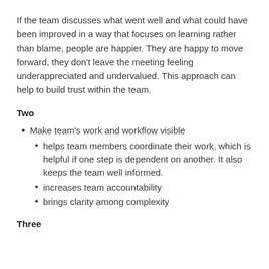If the team discusses what went well and what could have been improved in a way that focuses on learning rather than blame, people are happier. They are happy to move forward, they don't leave the meeting feeling underappreciated and undervalued. This approach can help to build trust within the team.
Two
Make team's work and workflow visible
helps team members coordinate their work, which is helpful if one step is dependent on another. It also keeps the team well informed.
increases team accountability
brings clarity among complexity
Three